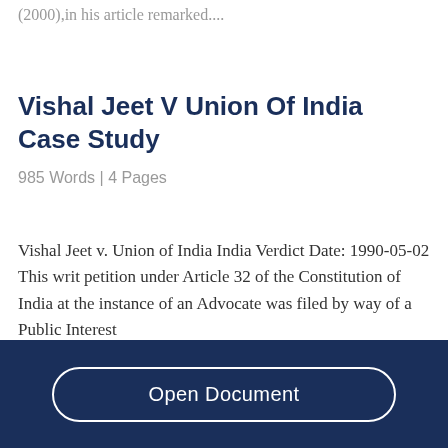(2000),in his article remarked....
Vishal Jeet V Union Of India Case Study
985 Words  | 4 Pages
Vishal Jeet v. Union of India India Verdict Date: 1990-05-02 This writ petition under Article 32 of the Constitution of India at the instance of an Advocate was filed by way of a Public Interest...
Open Document